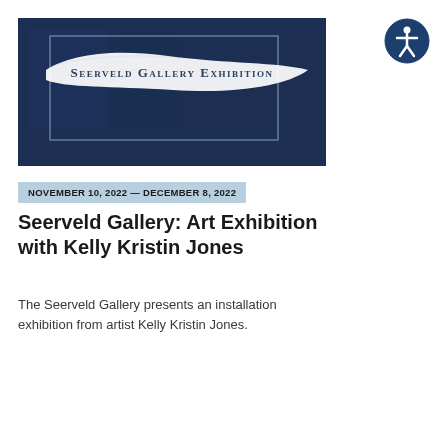[Figure (illustration): Dark navy blue gallery exhibition banner image with a white paint brush stroke in the center containing the text 'Seerveld Gallery Exhibition' in small caps serif font. A thin rectangular border frames the brush stroke area.]
[Figure (logo): Accessibility icon: a circular dark navy blue button with a white figure of a person in the universal accessibility symbol pose.]
NOVEMBER 10, 2022 — DECEMBER 8, 2022
Seerveld Gallery: Art Exhibition with Kelly Kristin Jones
The Seerveld Gallery presents an installation exhibition from artist Kelly Kristin Jones.